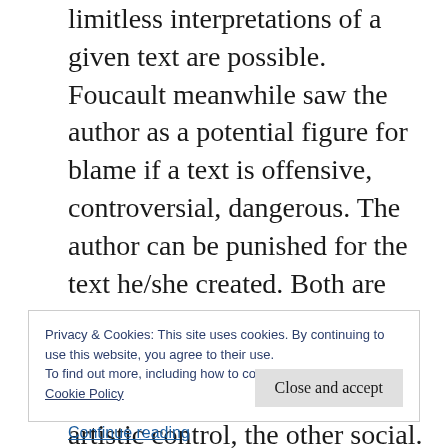limitless interpretations of a given text are possible. Foucault meanwhile saw the author as a potential figure for blame if a text is offensive, controversial, dangerous. The author can be punished for the text he/she created. Both are united in their view that authorship acts as a form of control, though one saw this as artistic control, the other social. (Ironically, it is not the nominal authors of a creative work that are likely to benefit from the Digital Economy Act: rather, it is the owners.)
Privacy & Cookies: This site uses cookies. By continuing to use this website, you agree to their use.
To find out more, including how to control cookies, see here:
Cookie Policy
Continue reading